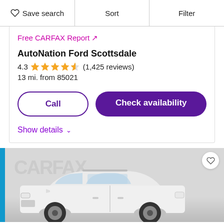Save search | Sort | Filter
Free CARFAX Report ↗
AutoNation Ford Scottsdale
4.3 ★★★★½ (1,425 reviews)
13 mi. from 85021
Call
Check availability
Show details ∨
[Figure (photo): White SUV (Ford Explorer style) shown against a light gray background with CARFAX watermark, blue bar on left edge, and heart/save icon in top right corner]